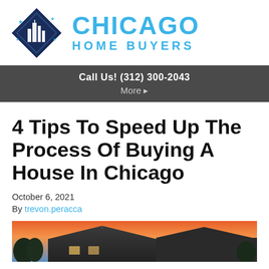[Figure (logo): Chicago Home Buyers logo: dark navy diamond/shield shape with stylized Chicago skyline and blue stars, beside the text CHICAGO HOME BUYERS in blue]
Call Us! (312) 300-2043
More ▸
4 Tips To Speed Up The Process Of Buying A House In Chicago
October 6, 2021
By trevon.peracca
[Figure (photo): Partial photo of a house exterior with a colorful sunset sky in the background, visible at the bottom of the page]